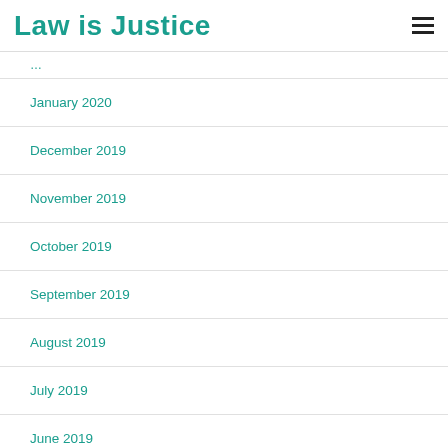Law is Justice
January 2020
December 2019
November 2019
October 2019
September 2019
August 2019
July 2019
June 2019
May 2019
April 2019